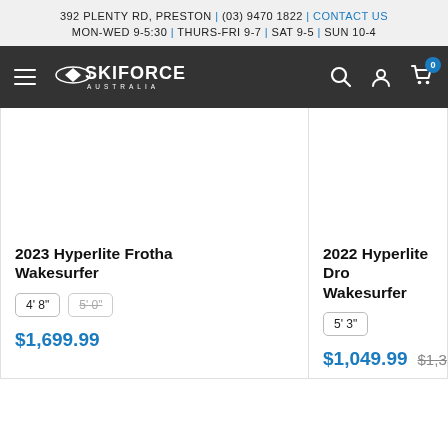392 PLENTY RD, PRESTON | (03) 9470 1822 | CONTACT US
MON-WED 9-5:30 | THURS-FRI 9-7 | SAT 9-5 | SUN 10-4
[Figure (logo): Ski Force Australia logo with navigation bar including hamburger menu, search, account, and cart icons]
2023 Hyperlite Frotha Wakesurfer
Size options: 4' 8", 5' 0" (strikethrough)
$1,699.99
2022 Hyperlite Dro Wakesurfer
Size options: 5' 3"
$1,049.99  $1,399.-